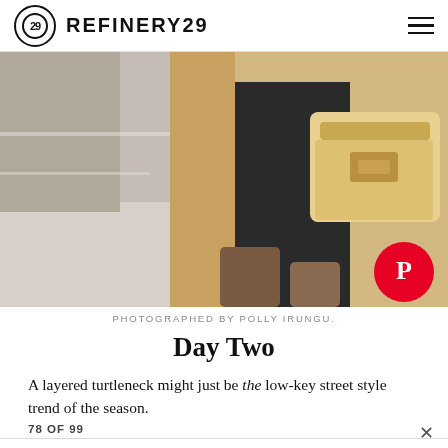REFINERY29
[Figure (photo): Fashion street style photo showing a person carrying a beige/gold structured handbag, wearing a black outfit and camel coat, brown boots visible, blurred street background]
PHOTOGRAPHED BY POLLY IRUNGU.
Day Two
A layered turtleneck might just be the low-key street style trend of the season.
78 OF 99